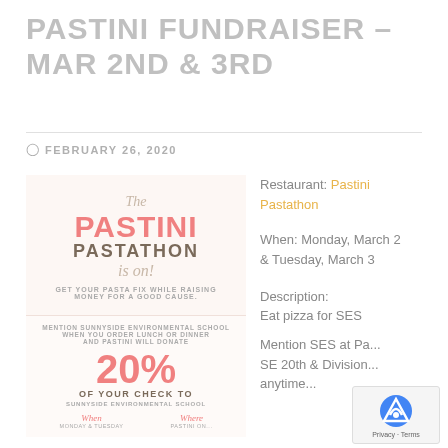PASTINI FUNDRAISER – MAR 2ND & 3RD
FEBRUARY 26, 2020
[Figure (illustration): Pastini Pastathon promotional flyer showing pasta-related icons, '20%' donation offer, with text 'The PASTINI PASTATHON is on! GET YOUR PASTA FIX WHILE RAISING MONEY FOR A GOOD CAUSE. MENTION SUNNYSIDE ENVIRONMENTAL SCHOOL WHEN YOU ORDER LUNCH OR DINNER AND PASTINI WILL DONATE 20% OF YOUR CHECK TO SUNNYSIDE ENVIRONMENTAL SCHOOL']
Restaurant: Pastini Pastathon
When: Monday, March 2 & Tuesday, March 3
Description:
Eat pizza for SES
Mention SES at Pa... SE 20th & Division anytime...